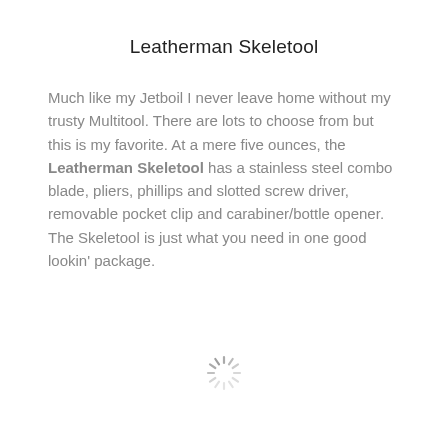Leatherman Skeletool
Much like my Jetboil I never leave home without my trusty Multitool. There are lots to choose from but this is my favorite. At a mere five ounces, the Leatherman Skeletool has a stainless steel combo blade, pliers, phillips and slotted screw driver, removable pocket clip and carabiner/bottle opener. The Skeletool is just what you need in one good lookin' package.
[Figure (other): Loading spinner icon]